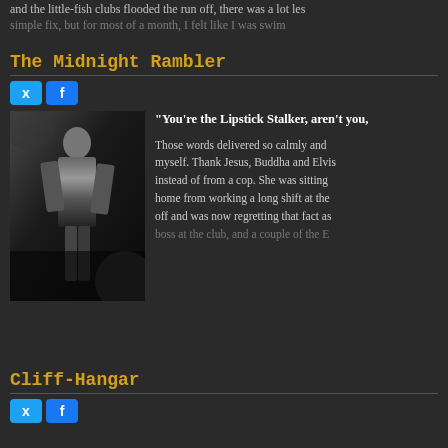and the little-fish clubs flooded the run off, there was a lot les
simple fix, but for most of a month, I felt like I was swim
The Midnight Rambler
[Figure (photo): Black and white moody photo of a person in dark clothing standing in a dramatic pose]
“You’re the Lipstick Stalker, aren’t you,
Those words delivered so calmly and myself. Thank Jesus, Buddha and Elvis instead of from a cop. She was sitting home from working a long shift at the off and was now regretting that fact as boss at the club, and a couple of the E
Cliff-Hangar